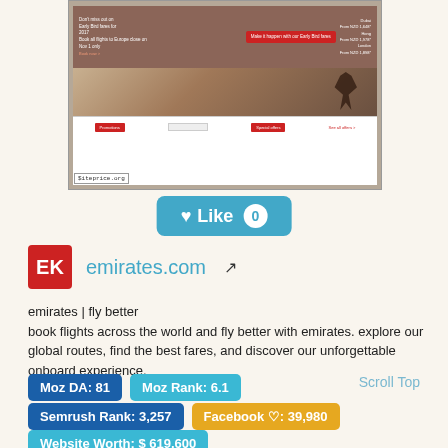[Figure (screenshot): Screenshot of emirates.com website showing Early Bird fares banner with red button and navigation bar. A siteprice.org badge is overlaid at the bottom left.]
♥ Like 0
EK  emirates.com ↗
emirates | fly better
book flights across the world and fly better with emirates. explore our global routes, find the best fares, and discover our unforgettable onboard experience.
Scroll Top
Moz DA: 81
Moz Rank: 6.1
Semrush Rank: 3,257
Facebook ♡: 39,980
Website Worth: $ 619,600
Categories: Travel, Travel